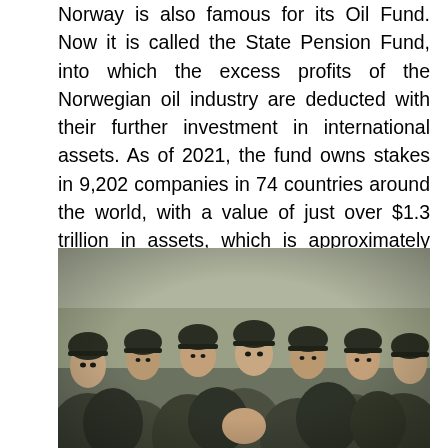Norway is also famous for its Oil Fund. Now it is called the State Pension Fund, into which the excess profits of the Norwegian oil industry are deducted with their further investment in international assets. As of 2021, the fund owns stakes in 9,202 companies in 74 countries around the world, with a value of just over $1.3 trillion in assets, which is approximately equal to 1.5% of the global stock market, making it the world's largest national wealth fund. I think our large army of economists and financiers have something to think about.
[Figure (photo): Group of men in dark military uniforms and caps, photographed indoors, multiple people visible]